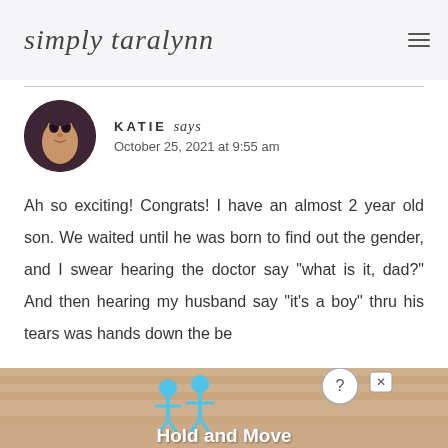simply taralynn
KATIE says
October 25, 2021 at 9:55 am
Ah so exciting! Congrats! I have an almost 2 year old son. We waited until he was born to find out the gender, and I swear hearing the doctor say “what is it, dad?” And then hearing my husband say “it’s a boy” thru his tears was hands down the be...
[Figure (infographic): Hold and Move advertisement banner with cartoon figures and close button]